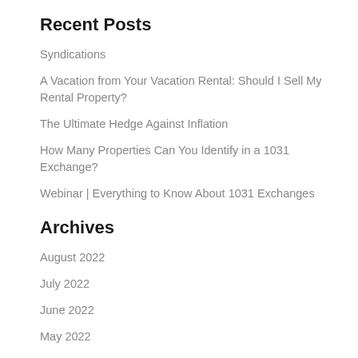Recent Posts
Syndications
A Vacation from Your Vacation Rental: Should I Sell My Rental Property?
The Ultimate Hedge Against Inflation
How Many Properties Can You Identify in a 1031 Exchange?
Webinar | Everything to Know About 1031 Exchanges
Archives
August 2022
July 2022
June 2022
May 2022
April 2022